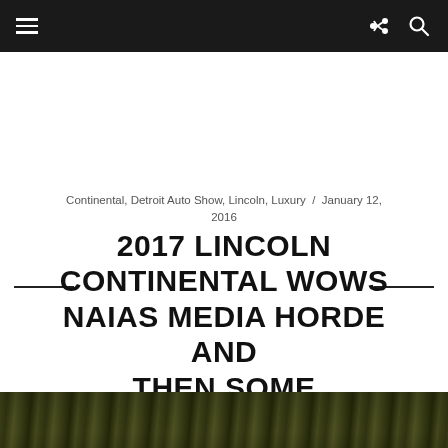Continental, Detroit Auto Show, Lincoln, Luxury  /  January 12, 2016
2017 LINCOLN CONTINENTAL WOWS NAIAS MEDIA HORDE AND THEN SOME
[Figure (photo): Dark blurred forest/outdoor scene photo strip at the bottom of the page]